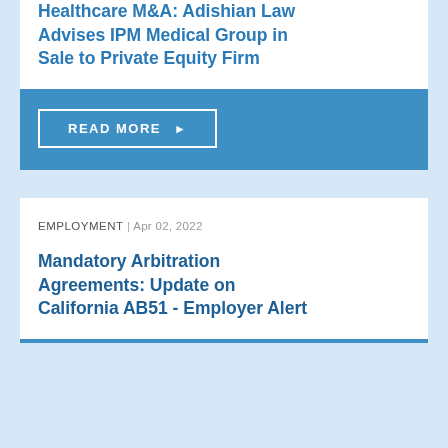Healthcare M&A: Adishian Law Advises IPM Medical Group in Sale to Private Equity Firm
READ MORE ▶
EMPLOYMENT | Apr 02, 2022
Mandatory Arbitration Agreements: Update on California AB51 - Employer Alert